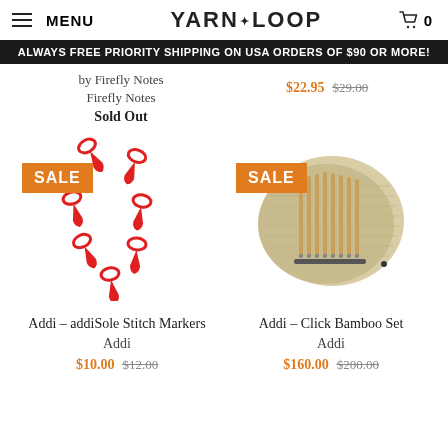MENU | YARN LOOP | 0
ALWAYS FREE PRIORITY SHIPPING ON USA ORDERS OF $90 OR MORE!
by Firefly Notes
Firefly Notes
Sold Out
$22.95 $29.00
[Figure (photo): Red plastic stitch markers with SALE badge]
Addi – addiSole Stitch Markers
Addi
$10.00 $12.00
[Figure (photo): Addi Click Bamboo needle set in roll case with SALE badge]
Addi – Click Bamboo Set
Addi
$160.00 $200.00